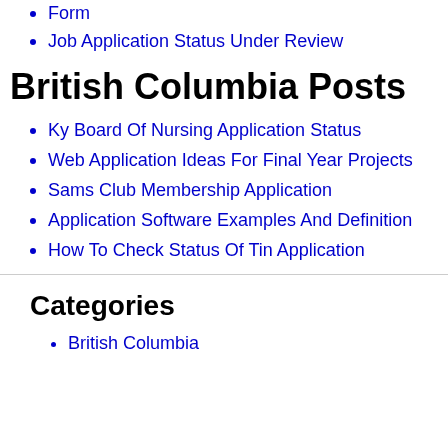Form
Job Application Status Under Review
British Columbia Posts
Ky Board Of Nursing Application Status
Web Application Ideas For Final Year Projects
Sams Club Membership Application
Application Software Examples And Definition
How To Check Status Of Tin Application
Categories
British Columbia